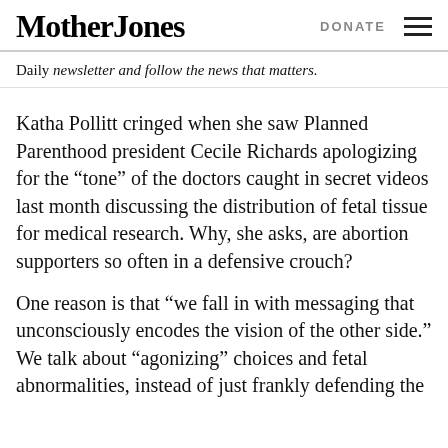Mother Jones | DONATE
Daily newsletter and follow the news that matters.
Katha Pollitt cringed when she saw Planned Parenthood president Cecile Richards apologizing for the “tone” of the doctors caught in secret videos last month discussing the distribution of fetal tissue for medical research. Why, she asks, are abortion supporters so often in a defensive crouch?
One reason is that “we fall in with messaging that unconsciously encodes the vision of the other side.” We talk about “agonizing” choices and fetal abnormalities, instead of just frankly defending the